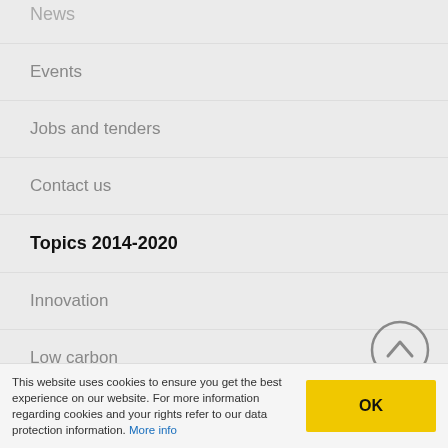News
Events
Jobs and tenders
Contact us
Topics 2014-2020
Innovation
Low carbon
Environment
Politi…
[Figure (illustration): Back to top button — circle with upward chevron arrow]
This website uses cookies to ensure you get the best experience on our website. For more information regarding cookies and your rights refer to our data protection information. More info